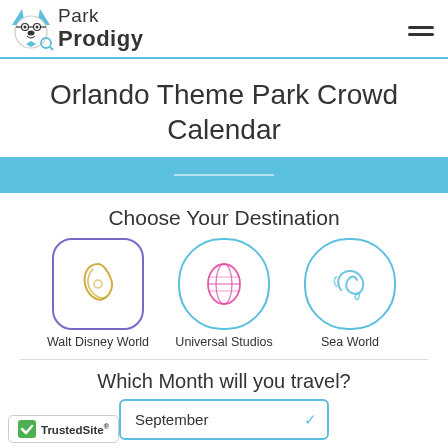[Figure (logo): Park Prodigy logo with dog mascot icon and text 'Park Prodigy']
Orlando Theme Park Crowd Calendar
Choose Your Destination
[Figure (illustration): Walt Disney World circular icon with Disney-style figure outline in gold/yellow on rounded square with purple border]
Walt Disney World
[Figure (illustration): Universal Studios circular icon with pink figure outline on rounded square with blue border]
Universal Studios
[Figure (illustration): Sea World circular icon with dolphin outline in teal on rounded square with blue border]
Sea World
Which Month will you travel?
September